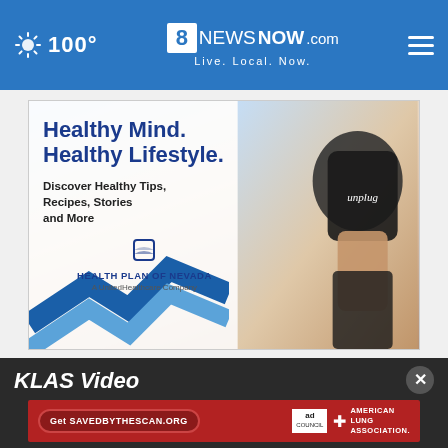8 News Now — 100° — 8NewsNow.com Live. Local. Now.
[Figure (illustration): Health Plan of Nevada advertisement: 'Healthy Mind. Healthy Lifestyle. Discover Healthy Tips, Recipes, Stories and More' with a person holding a mug that says 'unplug' and blue chevron shapes. Health Plan of Nevada — A UnitedHealthcare Company logo.]
KLAS Video
[Figure (illustration): Ad banner: 'Get SAVEDBYTHESCAN.ORG' button with Ad Council logo and American Lung Association branding on a red background.]